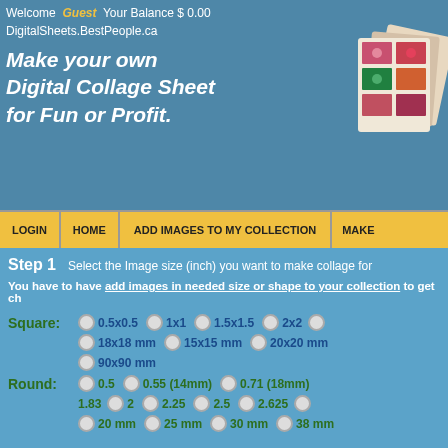Welcome Guest Your Balance $ 0.00
DigitalSheets.BestPeople.ca
Make your own Digital Collage Sheet for Fun or Profit.
[Figure (photo): Photo collage sheets showing flower images]
LOGIN | HOME | ADD IMAGES TO MY COLLECTION | MAKE
Step 1   Select the Image size (inch) you want to make collage for
You have to have add images in needed size or shape to your collection to get ch
Square: 0.5x0.5  1x1  1.5x1.5  2x2  18x18 mm  15x15 mm  20x20 mm  90x90 mm
Round: 0.5  0.55 (14mm)  0.71 (18mm)  1.83  2  2.25  2.5  2.625  20 mm  25 mm  30 mm  38 mm